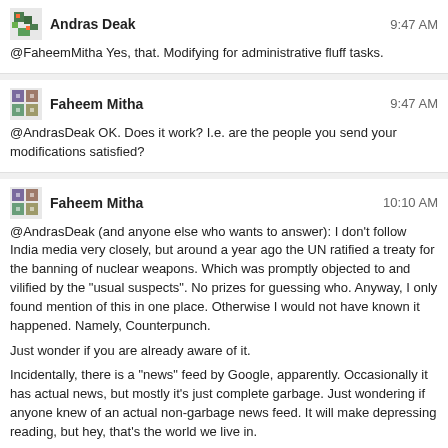Andras Deak 9:47 AM
@FaheemMitha Yes, that. Modifying for administrative fluff tasks.
Faheem Mitha 9:47 AM
@AndrasDeak OK. Does it work? I.e. are the people you send your modifications satisfied?
Faheem Mitha 10:10 AM
@AndrasDeak (and anyone else who wants to answer): I don't follow India media very closely, but around a year ago the UN ratified a treaty for the banning of nuclear weapons. Which was promptly objected to and vilified by the "usual suspects". No prizes for guessing who. Anyway, I only found mention of this in one place. Otherwise I would not have known it happened. Namely, Counterpunch.

Just wonder if you are already aware of it.

Incidentally, there is a "news" feed by Google, apparently. Occasionally it has actual news, but mostly it's just complete garbage. Just wondering if anyone knew of an actual non-garbage news feed. It will make depressing reading, but hey, that's the world we live in.

Ratification list in case anyone cares.

This must have been a absolutely huge effort, going back to 2017, but I don't recall hearing a single word about it. Perhaps I should pay more attention to the news.
Andras Deak 10:21 AM
@FaheemMitha I don't ask and they don't tell. Spreadsheets are probably OK, content is probably OK, formatting is a mess especially for text documents. When I get a form in doc* format its layout is always broken because there's a line or two on a wrong page which ruins the kind of "bespoke formatting with the spacebar" documents everyone writes
Faheem Mitha 10:22 AM